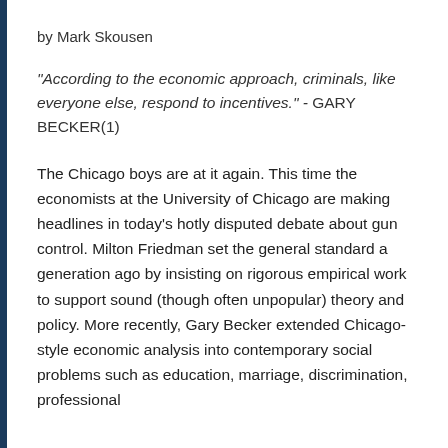by Mark Skousen
“According to the economic approach, criminals, like everyone else, respond to incentives.” - GARY BECKER(1)
The Chicago boys are at it again. This time the economists at the University of Chicago are making headlines in today’s hotly disputed debate about gun control. Milton Friedman set the general standard a generation ago by insisting on rigorous empirical work to support sound (though often unpopular) theory and policy. More recently, Gary Becker extended Chicago-style economic analysis into contemporary social problems such as education, marriage, discrimination, professional